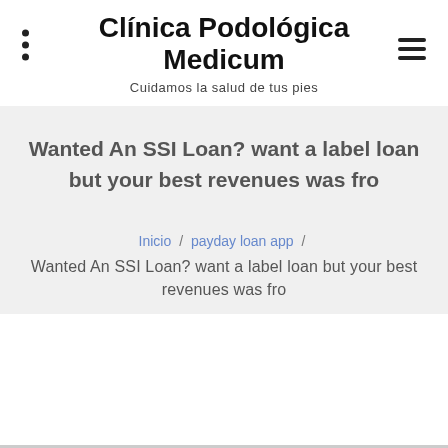Clínica Podológica Medicum
Cuidamos la salud de tus pies
Wanted An SSI Loan? want a label loan but your best revenues was fro
Inicio / payday loan app / Wanted An SSI Loan? want a label loan but your best revenues was fro